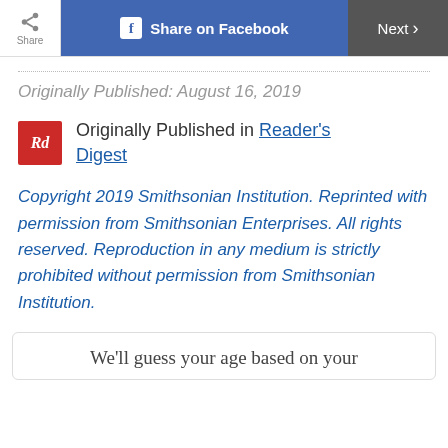Share | Share on Facebook | Next
Originally Published: August 16, 2019
Originally Published in Reader's Digest
Copyright 2019 Smithsonian Institution. Reprinted with permission from Smithsonian Enterprises. All rights reserved. Reproduction in any medium is strictly prohibited without permission from Smithsonian Institution.
We'll guess your age based on your